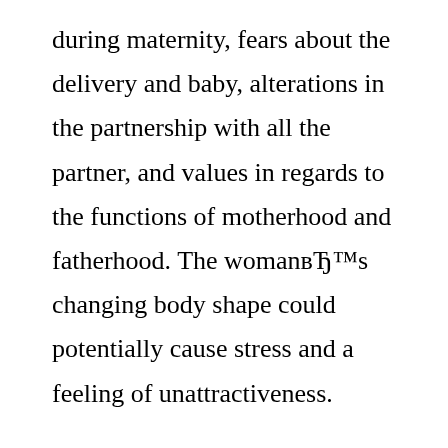during maternity, fears about the delivery and baby, alterations in the partnership with all the partner, and values in regards to the functions of motherhood and fatherhood. The womanвЂ™s changing body shape could potentially cause stress and a feeling of unattractiveness.
This ambivalence can become manifest in sexual problems which can be really emotional in beginning, being a response that is emotional the changed or changing state, or